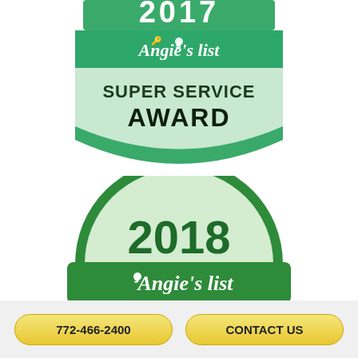[Figure (logo): Angie's List Super Service Award badge (shield shape) - partially cropped at top, showing green banner with Angie's list text, SUPER SERVICE AWARD text on mint green shield background]
[Figure (logo): 2018 Angie's List Super Service Award dome/semicircle badge - light green dome with '2018' in dark green, green banner below with white 'Angie's list' text]
772-466-2400
CONTACT US